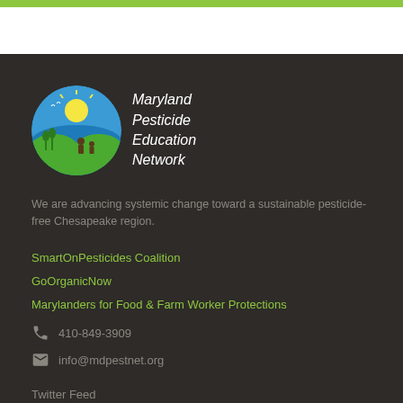[Figure (logo): Maryland Pesticide Education Network logo — circular badge with blue sky, sun, green hills, water, and silhouettes of people and plants. Text beside reads: Maryland Pesticide Education Network (italic)]
We are advancing systemic change toward a sustainable pesticide-free Chesapeake region.
SmartOnPesticides Coalition
GoOrganicNow
Marylanders for Food & Farm Worker Protections
410-849-3909
info@mdpestnet.org
Twitter Feed